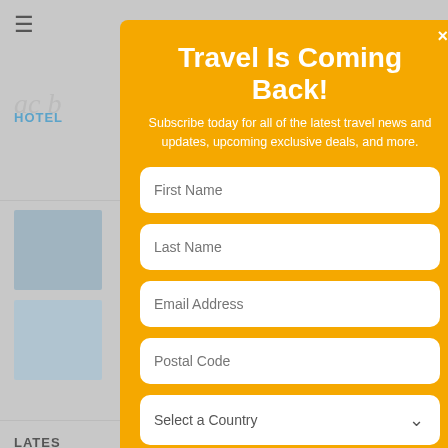[Figure (screenshot): Background of a travel website with greyed-out content showing hotel listings and related articles]
Travel Is Coming Back!
Subscribe today for all of the latest travel news and updates, upcoming exclusive deals, and more.
First Name
Last Name
Email Address
Postal Code
Select a Country
What Best Describes You?
Travel Agent
Travel Supplier
Traveler